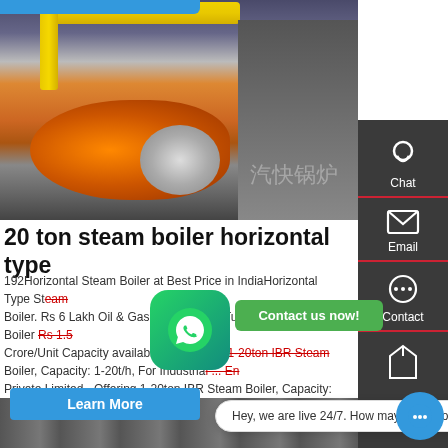[Figure (photo): Industrial horizontal steam boiler with orange burner, yellow pipes, and Chinese watermark text]
20 ton steam boiler horizontal type
192Horizontal Steam Boiler at Best Price in IndiaHorizontal Type Steam Boiler. Rs 6 Lakh Oil & Gas Fired Smoke Tube Type Steam Boiler Rs 1.5 Crore/Unit Capacity available: 1 ton/hr ... /hr 1-20ton IBR Steam Boiler, Capacity: 1-20t/h, For Industrial ... Private Limited - Offering 1-20ton IBR Steam Boiler, Capacity: 1-20t/h, For Industrial at Rs ...
Learn More
Hey, we are live 24/7. How may I help you?